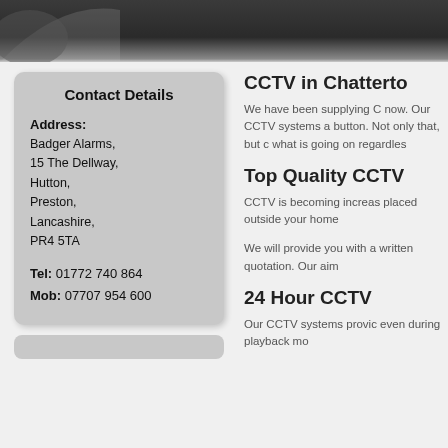Contact Details
Address:
Badger Alarms,
15 The Dellway,
Hutton,
Preston,
Lancashire,
PR4 5TA

Tel: 01772 740 864
Mob: 07707 954 600
CCTV in Chatterto
We have been supplying C now. Our CCTV systems a button. Not only that, but c what is going on regardles
Top Quality CCTV
CCTV is becoming increas placed outside your home
We will provide you with a written quotation. Our aim
24 Hour CCTV
Our CCTV systems provic even during playback mo